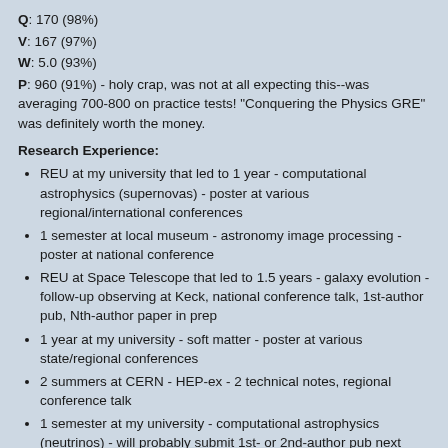Q: 170 (98%)
V: 167 (97%)
W: 5.0 (93%)
P: 960 (91%) - holy crap, was not at all expecting this--was averaging 700-800 on practice tests! "Conquering the Physics GRE" was definitely worth the money.
Research Experience:
REU at my university that led to 1 year - computational astrophysics (supernovas) - poster at various regional/international conferences
1 semester at local museum - astronomy image processing - poster at national conference
REU at Space Telescope that led to 1.5 years - galaxy evolution - follow-up observing at Keck, national conference talk, 1st-author pub, Nth-author paper in prep
1 year at my university - soft matter - poster at various state/regional conferences
2 summers at CERN - HEP-ex - 2 technical notes, regional conference talk
1 semester at my university - computational astrophysics (neutrinos) - will probably submit 1st- or 2nd-author pub next semester
Awards/Honors/Recognitions: Goldwater, Astronaut Scholarship, Phi